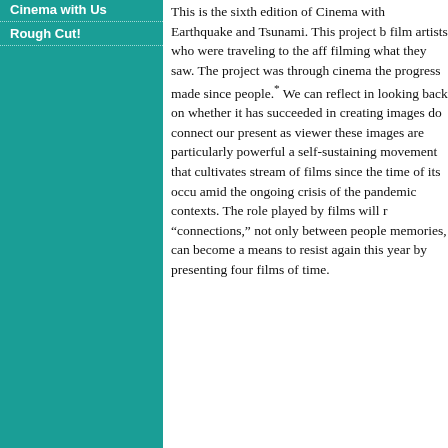Cinema with Us
Rough Cut!
This is the sixth edition of Cinema with Earthquake and Tsunami. This project b... film artists who were traveling to the aff... filming what they saw. The project was through cinema the progress made since people.* We can reflect in looking back on whether it has succeeded in creating images do connect our present as viewer these images are particularly powerful a self-sustaining movement that cultivates stream of films since the time of its occu amid the ongoing crisis of the pandemic contexts. The role played by films will r “connections,” not only between people memories, can become a means to resist again this year by presenting four films of time.